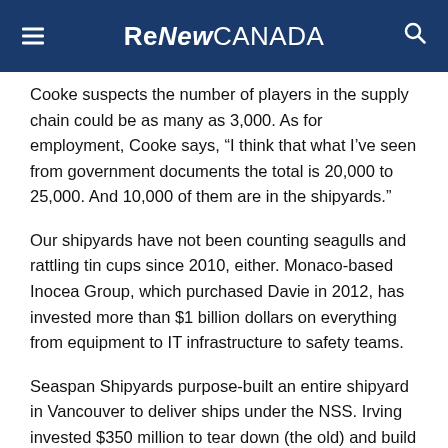ReNew CANADA
Cooke suspects the number of players in the supply chain could be as many as 3,000. As for employment, Cooke says, “I think that what I’ve seen from government documents the total is 20,000 to 25,000. And 10,000 of them are in the shipyards.”
Our shipyards have not been counting seagulls and rattling tin cups since 2010, either. Monaco-based Inocea Group, which purchased Davie in 2012, has invested more than $1 billion dollars on everything from equipment to IT infrastructure to safety teams.
Seaspan Shipyards purpose-built an entire shipyard in Vancouver to deliver ships under the NSS. Irving invested $350 million to tear down (the old) and build a new facility